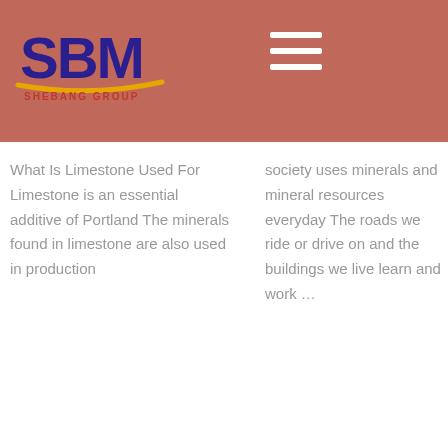[Figure (logo): SBM Shebang Group logo — blue and dark yellow 'SBM' letters with gold swoosh underline, on reddish-brown header background]
What Is Limestone Used For Limestone is an essential additive of Portland The minerals found in limestone are also used in production
society uses minerals and mineral resources everyday The roads we ride or drive on and the buildings we live learn and work …